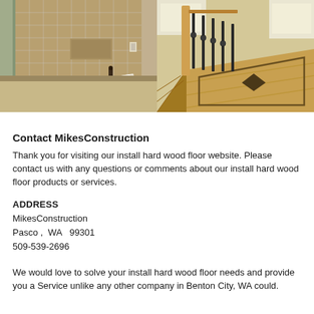[Figure (photo): Two side-by-side photos: left shows a bathroom with a corner tub and glass shower enclosure with stone tile walls; right shows a hardwood staircase and landing with decorative inlay flooring viewed from above.]
Contact MikesConstruction
Thank you for visiting our install hard wood floor website. Please contact us with any questions or comments about our install hard wood floor products or services.
ADDRESS
MikesConstruction
Pasco ,  WA  99301
509-539-2696
We would love to solve your install hard wood floor needs and provide you a Service unlike any other company in Benton City, WA could.